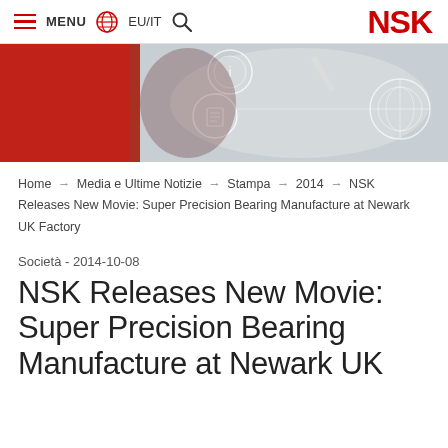MENU  EU/IT  NSK
[Figure (photo): Hero banner image showing a person holding a phone with digital connection icons overlay, red and grey tones]
Home → Media e Ultime Notizie → Stampa → 2014 → NSK Releases New Movie: Super Precision Bearing Manufacture at Newark UK Factory
Società - 2014-10-08
NSK Releases New Movie: Super Precision Bearing Manufacture at Newark UK